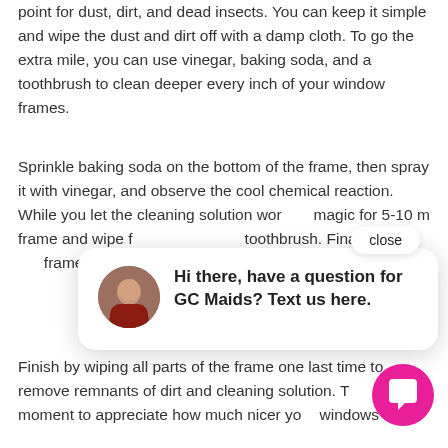point for dust, dirt, and dead insects. You can keep it simple and wipe the dust and dirt off with a damp cloth. To go the extra mile, you can use vinegar, baking soda, and a toothbrush to clean deeper every inch of your window frames.
Sprinkle baking soda on the bottom of the frame, then spray it with vinegar, and observe the cool chemical reaction. While you let the cleaning solution work its magic for 5-10 minutes, spray vinegar on the sides of the frame and wipe it down, using a toothbrush. Finally, rinse the frame, making sure...
[Figure (screenshot): A chat popup widget showing a circular avatar of a woman, with text 'Hi there, have a question for GC Maids? Text us here.' and a close button. A magenta circular chat button icon is in the bottom right.]
Finish by wiping all parts of the frame one last time to remove remnants of dirt and cleaning solution. Then take a moment to appreciate how much nicer your windows look!